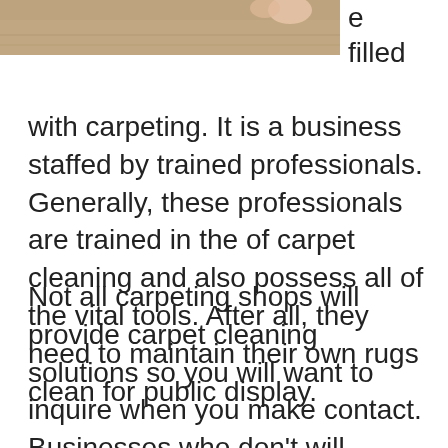[Figure (photo): Partial photo of carpet/flooring with a hand visible, cropped at top of page]
e filled
with carpeting. It is a business staffed by trained professionals. Generally, these professionals are trained in the of carpet cleaning and also possess all of the vital tools. After all, they need to maintain their own rugs clean for public display.
Not all carpeting shops will provide carpet cleaning solutions so you will want to inquire when you make contact. Businesses who don't will probably have the ability to refer you to whatever service they utilize or